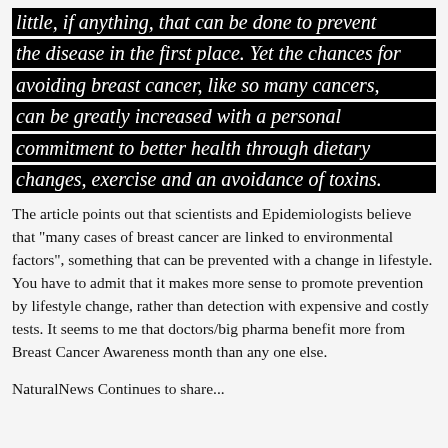little, if anything, that can be done to prevent the disease in the first place. Yet the chances for avoiding breast cancer, like so many cancers, can be greatly increased with a personal commitment to better health through dietary changes, exercise and an avoidance of toxins.
The article points out that scientists and Epidemiologists believe that "many cases of breast cancer are linked to environmental factors", something that can be prevented with a change in lifestyle. You have to admit that it makes more sense to promote prevention by lifestyle change, rather than detection with expensive and costly tests. It seems to me that doctors/big pharma benefit more from Breast Cancer Awareness month than any one else.
NaturalNews Continues to share...